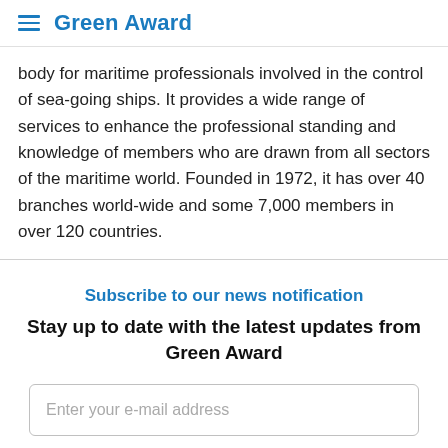Green Award
body for maritime professionals involved in the control of sea-going ships. It provides a wide range of services to enhance the professional standing and knowledge of members who are drawn from all sectors of the maritime world. Founded in 1972, it has over 40 branches world-wide and some 7,000 members in over 120 countries.
Subscribe to our news notification
Stay up to date with the latest updates from Green Award
Enter your e-mail address